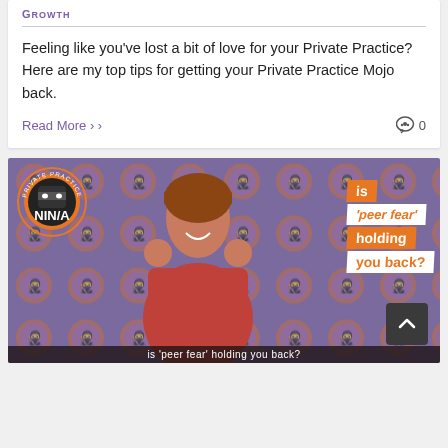GROWTH
Feeling like you've lost a bit of love for your Private Practice? Here are my top tips for getting your Private Practice Mojo back.
Read More
0
[Figure (photo): Promotional image for Private Practice Ninja with a smiling woman and text overlay reading 'is peer fear holding you back?']